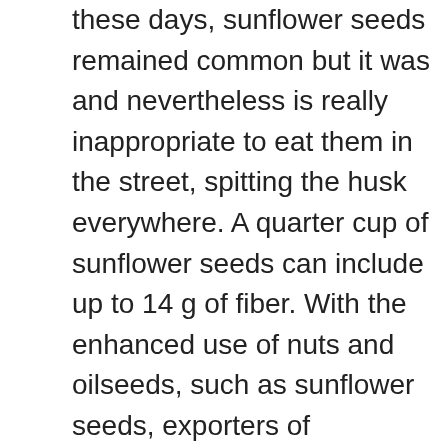these days, sunflower seeds remained common but it was and nevertheless is really inappropriate to eat them in the street, spitting the husk everywhere. A quarter cup of sunflower seeds can include up to 14 g of fiber. With the enhanced use of nuts and oilseeds, such as sunflower seeds, exporters of sunflower seeds can advantage from this trend as properly. Nations that engage in smaller sized-scale crushing of sunflower seeds are Bulgaria (987 thousand tonnes in 2017), Romania (930 thousand tonnes), the Netherlands (486 thousand tonnes) and Italy (413 thousand tonnes). Apparently, patience is paramount to sunflower seed harvests. The sunflower is a single of the biggest flowers in the world. No matter whether you are hunting for sunflowers to brighten your garden or wish to grow sunflowers for seed, you will uncover an in depth array of uncommon varieties in our collection. These are just ideas on how to get the seeds out of the shell to eat the seed. To beat them to the seeds, you can cover the flower with a mesh or paper bag although the seeds continue to ripen. And because sunflower seeds have a excellent amount of fat, they can go rancid, so make certain to shop them in an